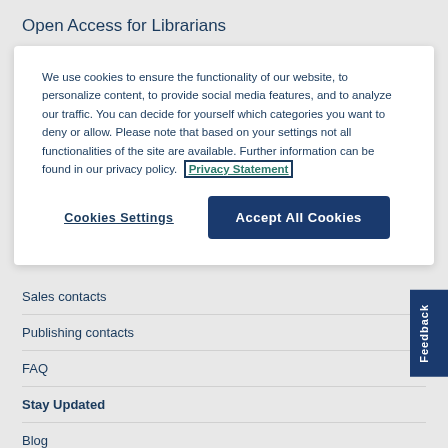Open Access for Librarians
We use cookies to ensure the functionality of our website, to personalize content, to provide social media features, and to analyze our traffic. You can decide for yourself which categories you want to deny or allow. Please note that based on your settings not all functionalities of the site are available. Further information can be found in our privacy policy.  Privacy Statement
Cookies Settings
Accept All Cookies
Sales contacts
Publishing contacts
FAQ
Stay Updated
Blog